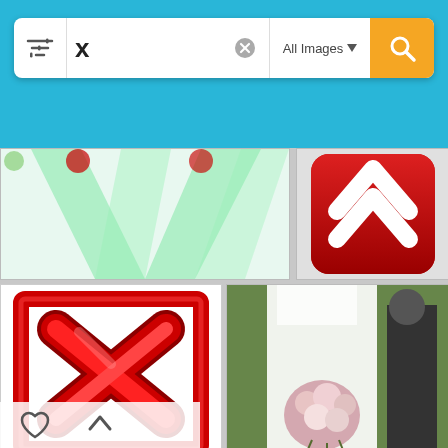[Figure (screenshot): Mobile image search interface showing search bar with letter 'x' and 'All Images' filter dropdown, with orange search button, set against a blue header background]
[Figure (photo): Green spotlights or rays forming an X shape on light background]
[Figure (photo): Red app icon with white upward-pointing chevron/arrow shapes on rounded square]
[Figure (illustration): 3D red X mark inside a red glossy square frame on white background]
[Figure (photo): Wedding photo showing bride in white dress holding flower bouquet with groom in background]
[Figure (photo): Chest X-ray image showing blue-toned ribcage and lungs]
[Figure (illustration): Large 3D red glossy X logo on black background]